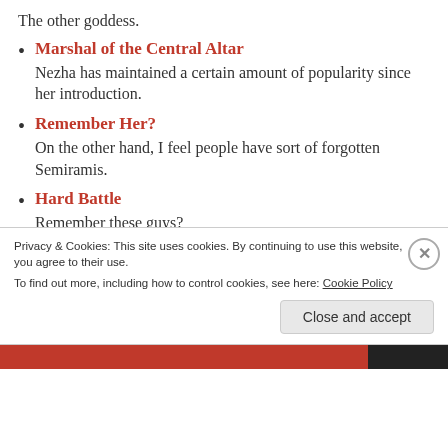The other goddess.
Marshal of the Central Altar
Nezha has maintained a certain amount of popularity since her introduction.
Remember Her?
On the other hand, I feel people have sort of forgotten Semiramis.
Hard Battle
Remember these guys?
The First Two Heroes
Gilgamesh and Enkidu are a classic pair.
Go Forth and Adventure!
Her gameplay may be mediocre but people really like drawing Brave Eli because of her armor.
Privacy & Cookies: This site uses cookies. By continuing to use this website, you agree to their use.
To find out more, including how to control cookies, see here: Cookie Policy